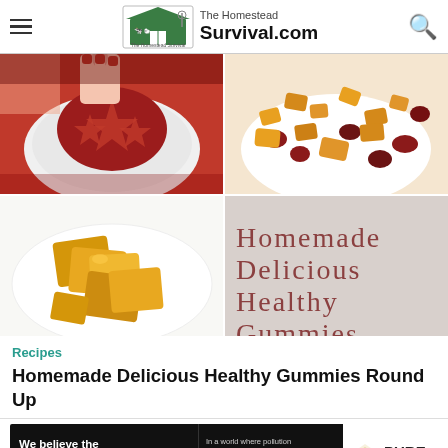The Homestead Survival.com
[Figure (photo): Collage of four food photos showing homemade gummies: top-left shows red star-shaped gummies in a bowl, top-right shows orange and red fruit gummies on a plate, bottom-left shows golden square gummies on a white plate, bottom-right shows text overlay 'Homemade Delicious Healthy Gummies Round Up' on gray background]
Recipes
Homemade Delicious Healthy Gummies Round Up
[Figure (infographic): Advertisement banner for Pure Earth: black background on left with text 'We believe the global pollution crisis can be solved.' and 'In a world where pollution doesn't stop at borders, we can all be part of the solution. JOIN US.' Right side shows Pure Earth logo with diamond shape and company name.]